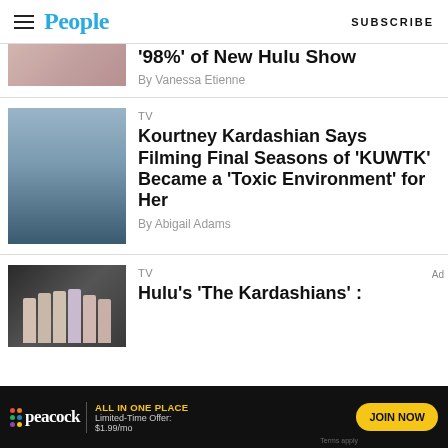People | SUBSCRIBE
'98%' of New Hulu Show
By Vanessa Etienne
TV
Kourtney Kardashian Says Filming Final Seasons of 'KUWTK' Became a 'Toxic Environment' for Her
By Abigail Adams
TV
Hulu's 'The Kardashians' :
[Figure (photo): Peacock advertisement banner: ALL IN ONE PLACE, Limited-Time Offer: $1.99/mo, JOIN NOW]